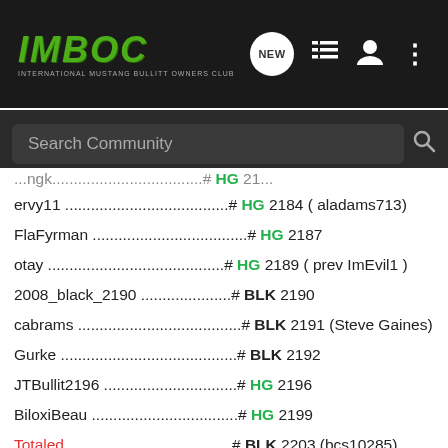[Figure (screenshot): IMBOC website header with logo, NEW button, list icon, user icon, and dots menu icon on dark background]
[Figure (screenshot): Search Community search bar on dark background]
(truncated top entry) ...# HG 2(truncated)
ervy11 .......................................# HG 2184 ( aladams713)
FlaFyrman .......................................# HG 2187
otay .......................................# HG 2189 ( prev ImEvil1 )
2008_black_2190 ...................# BLK 2190
cabrams .......................................# BLK 2191 (Steve Gaines)
Gurke .......................................# BLK 2192
JTBullit2196 .......................................# HG 2196
BiloxiBeau .......................................# HG 2199
Totaled .......................................# BLK 2203 (bcs10285)
commando_850 ...................# BLK 2204 ( Canada)(jim yeager)
bullitt 2205 .......................................# BLK 2205
2210th .......................................# HG 2210 ( Canada)()door turkey)
ibrockn .......................................# HG 2212